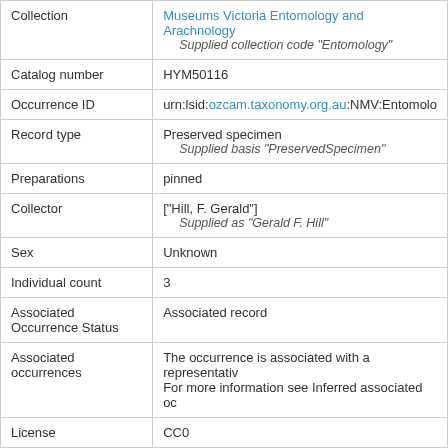| Field | Value |
| --- | --- |
| Collection | Museums Victoria Entomology and Arachnology
    Supplied collection code "Entomology" |
| Catalog number | HYM50116 |
| Occurrence ID | urn:lsid:ozcam.taxonomy.org.au:NMV:Entomolo... |
| Record type | Preserved specimen
    Supplied basis "PreservedSpecimen" |
| Preparations | pinned |
| Collector | ["Hill, F. Gerald"]
    Supplied as "Gerald F. Hill" |
| Sex | Unknown |
| Individual count | 3 |
| Associated Occurrence Status | Associated record |
| Associated occurrences | The occurrence is associated with a representativ...
For more information see Inferred associated oc... |
| License | CC0 |